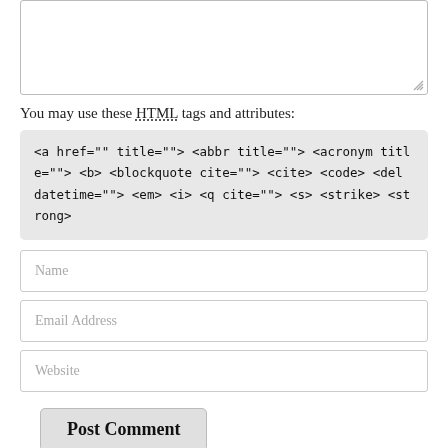[Figure (screenshot): A textarea input box with a resize handle in the bottom-right corner]
You may use these HTML tags and attributes:
<a href="" title=""> <abbr title=""> <acronym title=""> <b> <blockquote cite=""> <cite> <code> <del datetime=""> <em> <i> <q cite=""> <s> <strike> <strong>
[Figure (screenshot): Name input field placeholder]
[Figure (screenshot): Email Address input field placeholder]
[Figure (screenshot): Website input field placeholder]
[Figure (screenshot): Post Comment button]